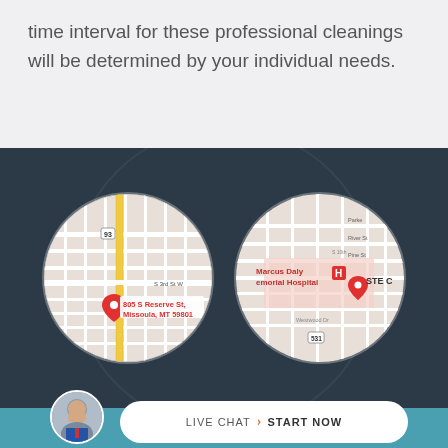time interval for these professional cleanings will be determined by your individual needs.
[Figure (map): Circular map showing location pin at 805 S Reserve St, Missoula, MT 59801 with road S 3rd St W visible and highway 93]
[Figure (map): Circular map showing location pin labeled STE C near Marcus Daly Memorial Hospital with streets Parke, River St, Pine St, N 10th S, Westwood Dr, and route 531]
LIVE CHAT  START NOW